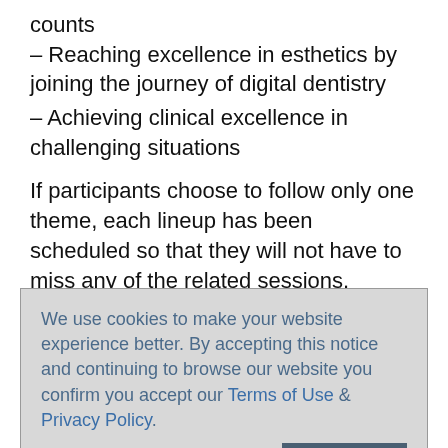counts
– Reaching excellence in esthetics by joining the journey of digital dentistry
– Achieving clinical excellence in challenging situations
If participants choose to follow only one theme, each lineup has been scheduled so that they will not have to miss any of the related sessions. Alternatively, attendees can also pick and choose between the different themes and attend the sessions that interest them most.
We use cookies to make your website experience better. By accepting this notice and continuing to browse our website you confirm you accept our Terms of Use & Privacy Policy.
read more >>
I Accept
event website could vote for the topics they would like